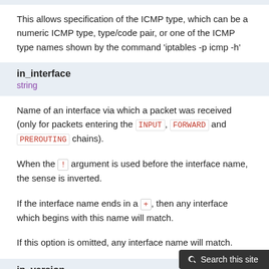This allows specification of the ICMP type, which can be a numeric ICMP type, type/code pair, or one of the ICMP type names shown by the command 'iptables -p icmp -h'
in_interface
string
Name of an interface via which a packet was received (only for packets entering the INPUT, FORWARD and PREROUTING chains).
When the ! argument is used before the interface name, the sense is inverted.
If the interface name ends in a +, then any interface which begins with this name will match.
If this option is omitted, any interface name will match.
ip_version
string
Which version of the IP protocol apply to.